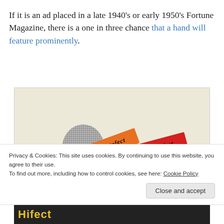If it is an ad placed in a late 1940's or early 1950's Fortune Magazine, there is a one in three chance that a hand will feature prominently.
[Figure (photo): Vintage magazine advertisement showing product labels 'Rotofect' (orange) and 'Multifect' (red) on a dotted/textured thumb or hand shape against a cream background.]
Privacy & Cookies: This site uses cookies. By continuing to use this website, you agree to their use.
To find out more, including how to control cookies, see here: Cookie Policy
[Figure (photo): Bottom strip of vintage advertisement showing 'Hifect' text in yellow on dark background.]